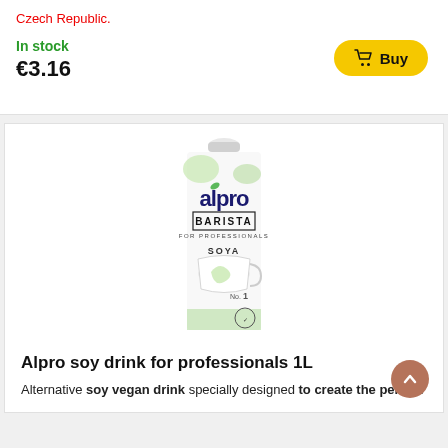Czech Republic.
In stock
€3.16
[Figure (photo): Alpro Barista Soya 1L carton product photo]
Alpro soy drink for professionals 1L
Alternative soy vegan drink specially designed to create the perfect